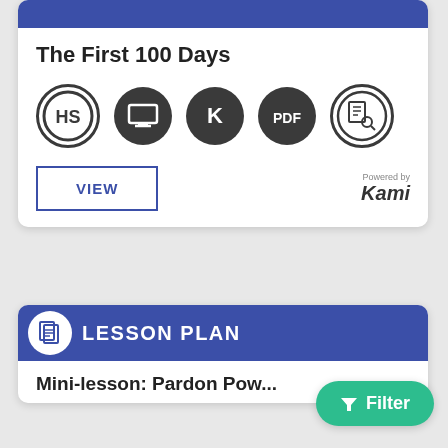LESSON PLAN
The First 100 Days
[Figure (illustration): Row of five circular icons: HS (outline circle), monitor/screen (dark), K letter (dark), PDF (dark), document-search (outline circle)]
VIEW
Powered by Kami
LESSON PLAN
Mini-lesson: Pardon Pow...